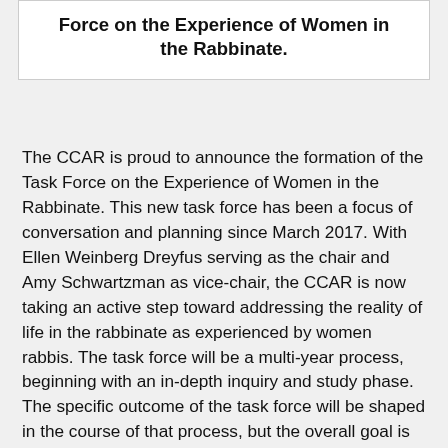Force on the Experience of Women in the Rabbinate.
The CCAR is proud to announce the formation of the Task Force on the Experience of Women in the Rabbinate. This new task force has been a focus of conversation and planning since March 2017. With Ellen Weinberg Dreyfus serving as the chair and Amy Schwartzman as vice-chair, the CCAR is now taking an active step toward addressing the reality of life in the rabbinate as experienced by women rabbis. The task force will be a multi-year process, beginning with an in-depth inquiry and study phase. The specific outcome of the task force will be shaped in the course of that process, but the overall goal is to create tools and protocols that will help lead to a culture change within the Reform Movement.